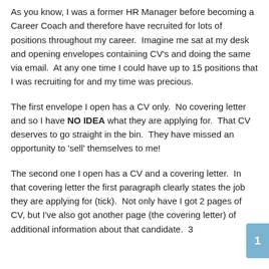As you know, I was a former HR Manager before becoming a Career Coach and therefore have recruited for lots of positions throughout my career.  Imagine me sat at my desk and opening envelopes containing CV's and doing the same via email.  At any one time I could have up to 15 positions that I was recruiting for and my time was precious.
The first envelope I open has a CV only.  No covering letter and so I have NO IDEA what they are applying for.  That CV deserves to go straight in the bin.  They have missed an opportunity to 'sell' themselves to me!
The second one I open has a CV and a covering letter.  In that covering letter the first paragraph clearly states the job they are applying for (tick).  Not only have I got 2 pages of CV, but I've also got another page (the covering letter) of additional information about that candidate.  3 pages in all!